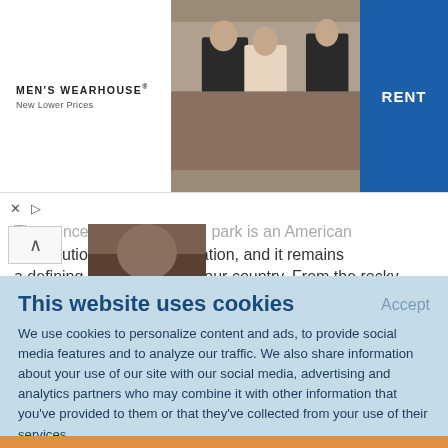[Figure (illustration): Men's Wearhouse advertisement banner with logo on left, wedding couple and suited man in center photo area, and blue RENT button on right]
The concept of the national park is an American contribution to world civilization, and it remains a defining characteristic of our country. From the rocky shore of Maine's Acadia to the barren crater and lush rain forest of Hawaii's Haleakala, America's national beauty is celebrated and preserved in its national parks. This book retells the
This website uses cookies
Accept
We use cookies to personalize content and ads, to provide social media features and to analyze our traffic. We also share information about your use of our site with our social media, advertising and analytics partners who may combine it with other information that you've provided to them or that they've collected from your use of their services.
Learn More.